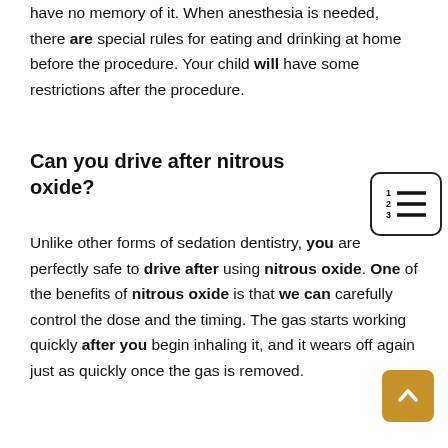have no memory of it. When anesthesia is needed, there are special rules for eating and drinking at home before the procedure. Your child will have some restrictions after the procedure.
Can you drive after nitrous oxide?
Unlike other forms of sedation dentistry, you are perfectly safe to drive after using nitrous oxide. One of the benefits of nitrous oxide is that we can carefully control the dose and the timing. The gas starts working quickly after you begin inhaling it, and it wears off again just as quickly once the gas is removed.